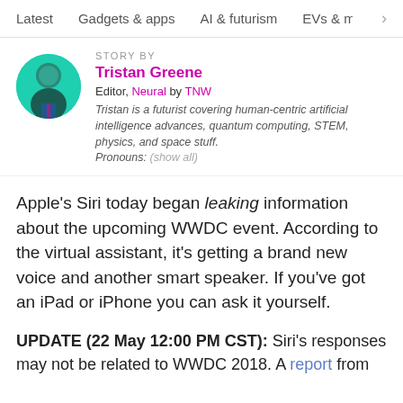Latest   Gadgets & apps   AI & futurism   EVs & mobil  >
STORY BY
Tristan Greene
Editor, Neural by TNW
Tristan is a futurist covering human-centric artificial intelligence advances, quantum computing, STEM, physics, and space stuff. Pronouns: (show all)
Apple's Siri today began leaking information about the upcoming WWDC event. According to the virtual assistant, it's getting a brand new voice and another smart speaker. If you've got an iPad or iPhone you can ask it yourself.
UPDATE (22 May 12:00 PM CST): Siri's responses may not be related to WWDC 2018. A report from